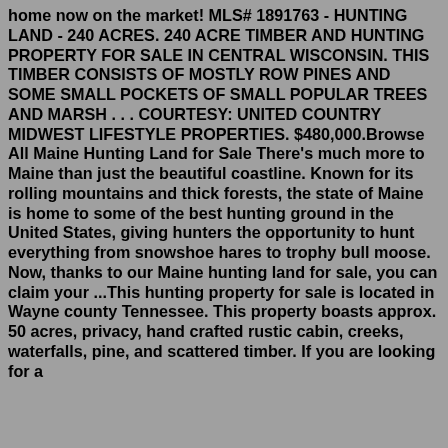home now on the market! MLS# 1891763 - HUNTING LAND - 240 ACRES. 240 ACRE TIMBER AND HUNTING PROPERTY FOR SALE IN CENTRAL WISCONSIN. THIS TIMBER CONSISTS OF MOSTLY ROW PINES AND SOME SMALL POCKETS OF SMALL POPULAR TREES AND MARSH . . . COURTESY: UNITED COUNTRY MIDWEST LIFESTYLE PROPERTIES. $480,000.Browse All Maine Hunting Land for Sale There's much more to Maine than just the beautiful coastline. Known for its rolling mountains and thick forests, the state of Maine is home to some of the best hunting ground in the United States, giving hunters the opportunity to hunt everything from snowshoe hares to trophy bull moose. Now, thanks to our Maine hunting land for sale, you can claim your ...This hunting property for sale is located in Wayne county Tennessee. This property boasts approx. 50 acres, privacy, hand crafted rustic cabin, creeks, waterfalls, pine, and scattered timber. If you are looking for a